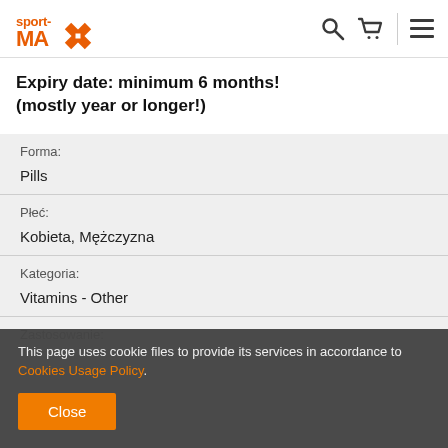sport-MAX
Expiry date: minimum 6 months! (mostly year or longer!)
| Forma: |  |
| Pills |  |
| Płeć: |  |
| Kobieta, Mężczyzna |  |
| Kategoria: |  |
| Vitamins - Other |  |
| Zastosowanie: |  |
This page uses cookie files to provide its services in accordance to Cookies Usage Policy.
Close